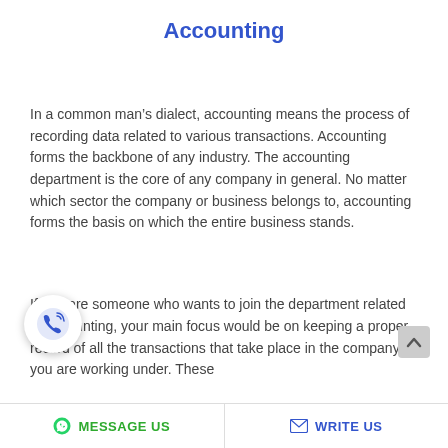Accounting
In a common man’s dialect, accounting means the process of recording data related to various transactions. Accounting forms the backbone of any industry. The accounting department is the core of any company in general. No matter which sector the company or business belongs to, accounting forms the basis on which the entire business stands.
If you are someone who wants to join the department related to accounting, your main focus would be on keeping a proper record of all the transactions that take place in the company you are working under. These
[Figure (other): Phone/call icon in a white circle with shadow]
[Figure (other): Scroll-up chevron arrow button]
MESSAGE US   WRITE US